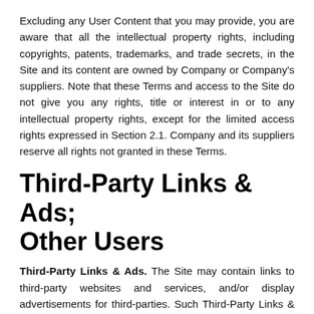Excluding any User Content that you may provide, you are aware that all the intellectual property rights, including copyrights, patents, trademarks, and trade secrets, in the Site and its content are owned by Company or Company's suppliers. Note that these Terms and access to the Site do not give you any rights, title or interest in or to any intellectual property rights, except for the limited access rights expressed in Section 2.1. Company and its suppliers reserve all rights not granted in these Terms.
Third-Party Links & Ads; Other Users
Third-Party Links & Ads. The Site may contain links to third-party websites and services, and/or display advertisements for third-parties. Such Third-Party Links & Ads are not under the control of Company, and Company is not responsible for any Third-Party Links & Ads. Company